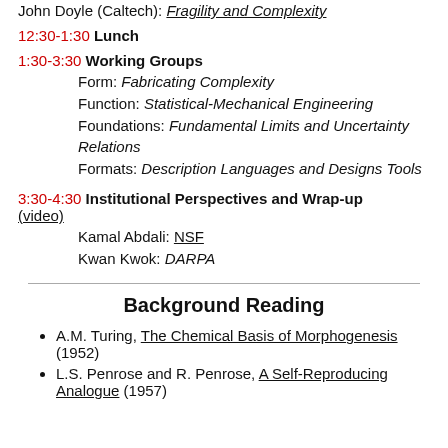John Doyle (Caltech): Fragility and Complexity
12:30-1:30 Lunch
1:30-3:30 Working Groups
Form: Fabricating Complexity
Function: Statistical-Mechanical Engineering
Foundations: Fundamental Limits and Uncertainty Relations
Formats: Description Languages and Designs Tools
3:30-4:30 Institutional Perspectives and Wrap-up (video)
Kamal Abdali: NSF
Kwan Kwok: DARPA
Background Reading
A.M. Turing, The Chemical Basis of Morphogenesis (1952)
L.S. Penrose and R. Penrose, A Self-Reproducing Analogue (1957)